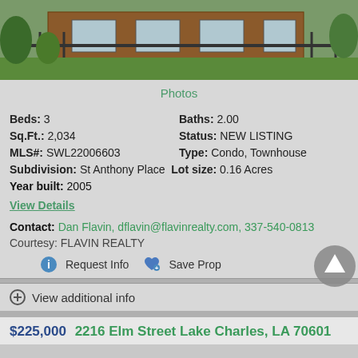[Figure (photo): Exterior photo of a brick house with iron fence and green lawn/trees]
Photos
Beds: 3    Baths: 2.00
Sq.Ft.: 2,034    Status: NEW LISTING
MLS#: SWL22006603    Type: Condo, Townhouse
Subdivision: St Anthony Place   Lot size: 0.16 Acres
Year built: 2005
View Details
Contact: Dan Flavin, dflavin@flavinrealty.com, 337-540-0813
Courtesy: FLAVIN REALTY
Request Info   Save Prop
View additional info
$225,000  2216 Elm Street Lake Charles, LA 70601